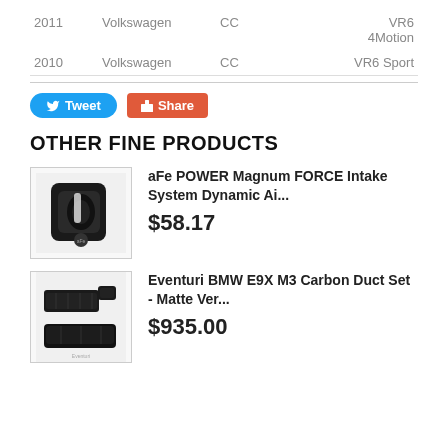| Year | Make | Model | Submodel |
| --- | --- | --- | --- |
| 2011 | Volkswagen | CC | VR6
4Motion |
| 2010 | Volkswagen | CC | VR6 Sport |
[Figure (other): Tweet and Share social media buttons]
OTHER FINE PRODUCTS
[Figure (photo): aFe POWER Magnum FORCE Intake System product image - black air intake component]
aFe POWER Magnum FORCE Intake System Dynamic Ai...
$58.17
[Figure (photo): Eventuri BMW E9X M3 Carbon Duct Set - Matte Version product image - carbon fiber parts]
Eventuri BMW E9X M3 Carbon Duct Set - Matte Ver...
$935.00